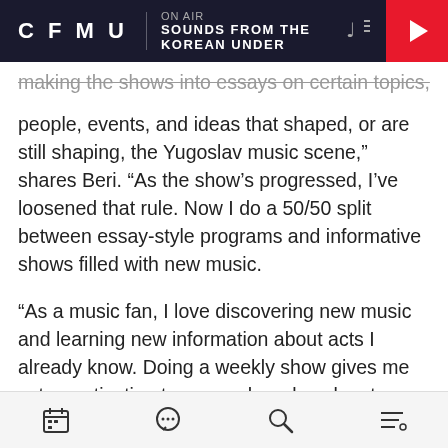CFMU | ON AIR | SOUNDS FROM THE KOREAN UNDER
making the shows into essays on certain topics, people, events, and ideas that shaped, or are still shaping, the Yugoslav music scene," shares Beri. "As the show's progressed, I've loosened that rule. Now I do a 50/50 split between essay-style programs and informative shows filled with new music.
“As a music fan, I love discovering new music and learning new information about acts I already know. Doing a weekly show gives me extra motivation to research and seek out new music on a regular basis, which is a good thing.”
In terms of musical styles, what can listeners expect to hear each week on No Hope – No Fear?
[calendar icon] [chat icon] [search icon] [menu icon]